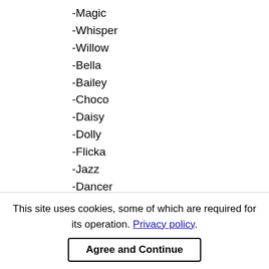-Magic
-Whisper
-Willow
-Bella
-Bailey
-Choco
-Daisy
-Dolly
-Flicka
-Jazz
-Dancer
-Midnight
-Mistery
-Molly
-Nikki
This site uses cookies, some of which are required for its operation. Privacy policy.
Agree and Continue